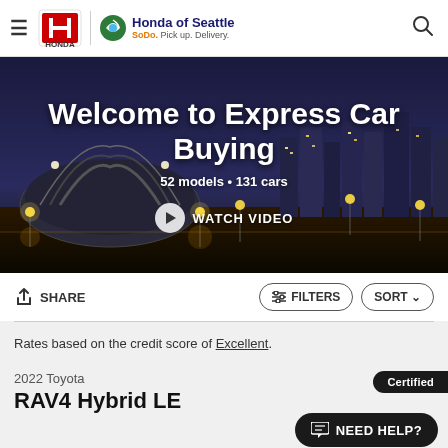Honda of Seattle — SoDo. Pick up. Delivery.
[Figure (photo): Hero banner with Seattle skyline at night/dusk behind text 'Welcome to Express Car Buying', 52 models • 131 cars, Watch Video button]
Welcome to Express Car Buying
52 models • 131 cars
WATCH VIDEO
SHARE
FILTERS   SORT
Rates based on the credit score of Excellent.
2022 Toyota
RAV4 Hybrid LE